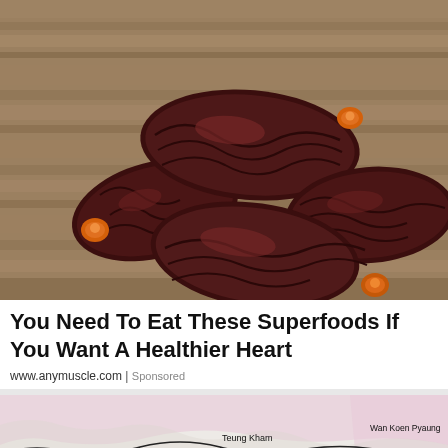[Figure (photo): Close-up photo of several dark Medjool dates with orange-tipped stems resting on a rustic wooden surface]
You Need To Eat These Superfoods If You Want A Healthier Heart
www.anymuscle.com | Sponsored
[Figure (map): Partial topographic or geographic map showing place names: Phai Kan, Teung Kham, Wan Lao Khun, Wan Koen Pyaung, with terrain lines (black, red, pink/lavender shading) on a light background]